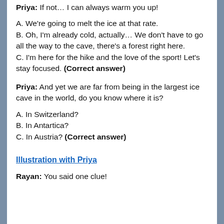Priya: If not… I can always warm you up!
A. We're going to melt the ice at that rate.
B. Oh, I'm already cold, actually… We don't have to go all the way to the cave, there's a forest right here.
C. I'm here for the hike and the love of the sport! Let's stay focused. (Correct answer)
Priya: And yet we are far from being in the largest ice cave in the world, do you know where it is?
A. In Switzerland?
B. In Antartica?
C. In Austria? (Correct answer)
Illustration with Priya
Rayan: You said one clue!